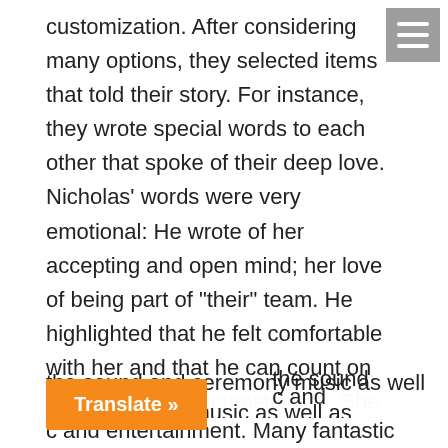customization. After considering many options, they selected items that told their story. For instance, they wrote special words to each other that spoke of their deep love. Nicholas' words were very emotional: He wrote of her accepting and open mind; her love of being part of "their" team. He highlighted that he felt comfortable with her and that he can count on her under any circumstances. She wrote about his selflessness and that he challenges her to push to the be best version of herself. Cristina loves the way that he treats his and her families. It is as plain as anyone could see that they are simple meant to be! Kristy Rapp Events did an amazing job in planning and coordinating this wonderful event! Kristy was there for the rehearsal as well as the ceremony and everything was so wonderfully planned and executed! Of course, the fantastic Jena from R DJ Rocks was [the sound and ceremony music as well as [c and entertainment. Many fantastic
[Figure (other): Hamburger menu icon — three horizontal white lines on a grey square background, top-right corner]
Translate »